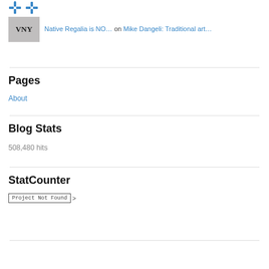[Figure (logo): Two small blue diamond/cross icons at top left]
Native Regalia is NO… on Mike Dangeli: Traditional art…
Pages
About
Blog Stats
508,480 hits
StatCounter
Project Not Found >